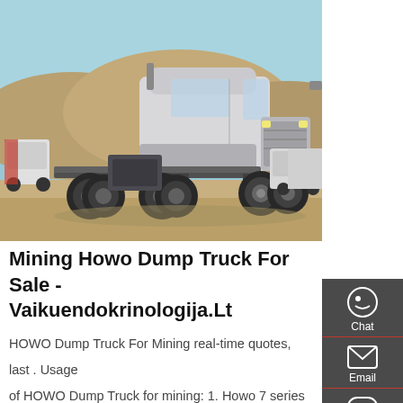[Figure (photo): A silver HOWO heavy-duty truck/tractor unit without a trailer, parked in an arid area with rocky hills in the background. Additional trucks visible in the background on both sides.]
Mining Howo Dump Truck For Sale - Vaikuendokrinologija.Lt
HOWO Dump Truck For Mining real-time quotes, last . Usage of HOWO Dump Truck for mining: 1. Howo 7 series heavy-duty truck has fine and splendide appearance, word top-class cabs, and brand-new power systerm. 2. Multiple security and reliability represent it's leading position in heay-duty truck industry in China. 3. Get Price